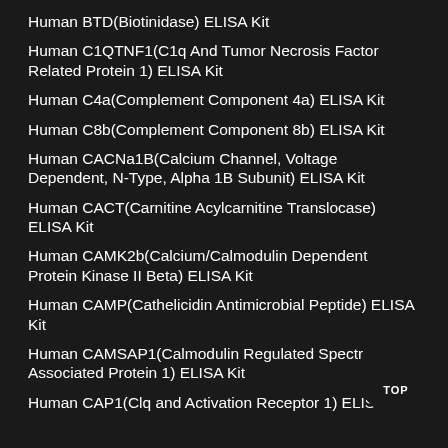Human BTD(Biotinidase) ELISA Kit
Human C1QTNF1(C1q And Tumor Necrosis Factor Related Protein 1) ELISA Kit
Human C4a(Complement Component 4a) ELISA Kit
Human C8b(Complement Component 8b) ELISA Kit
Human CACNa1B(Calcium Channel, Voltage Dependent, N-Type, Alpha 1B Subunit) ELISA Kit
Human CACT(Carnitine Acylcarnitine Translocase) ELISA Kit
Human CAMK2b(Calcium/Calmodulin Dependent Protein Kinase II Beta) ELISA Kit
Human CAMP(Cathelicidin Antimicrobial Peptide) ELISA Kit
Human CAMSAP1(Calmodulin Regulated Spectrin Associated Protein 1) ELISA Kit
Human CAP1(Clq and Activation Receptor 1) ELISA Kit